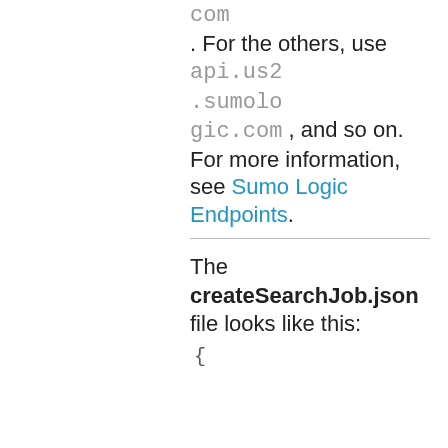com. For the others, use api.us2.sumologic.com, and so on. For more information, see Sumo Logic Endpoints.
The createSearchJob.json file looks like this:
{